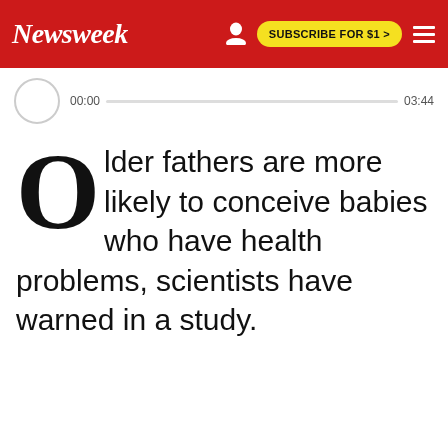Newsweek   SUBSCRIBE FOR $1 >
00:00   03:44
Older fathers are more likely to conceive babies who have health problems, scientists have warned in a study.